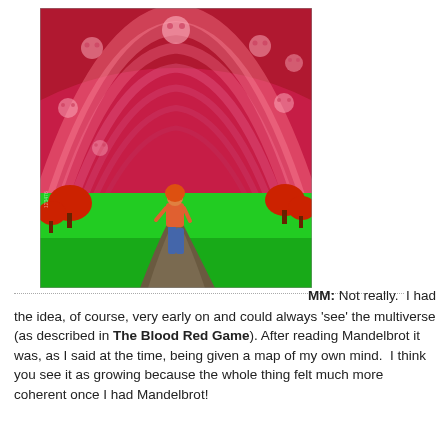[Figure (illustration): Surrealist painting showing a shirtless man with orange hair walking on a winding path through green fields beneath a dramatic arching red sky filled with ghostly faces and swirling patterns. Red trees dot the landscape on both sides.]
MM: Not really. I had the idea, of course, very early on and could always 'see' the multiverse (as described in The Blood Red Game). After reading Mandelbrot it was, as I said at the time, being given a map of my own mind. I think you see it as growing because the whole thing felt much more coherent once I had Mandelbrot!